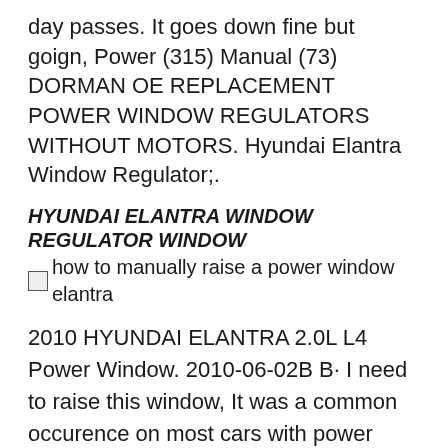day passes. It goes down fine but goign, Power (315) Manual (73) DORMAN OE REPLACEMENT POWER WINDOW REGULATORS WITHOUT MOTORS. Hyundai Elantra Window Regulator;.
HYUNDAI ELANTRA WINDOW REGULATOR WINDOW
[Figure (photo): Broken image placeholder with alt text: how to manually raise a power window elantra]
2010 HYUNDAI ELANTRA 2.0L L4 Power Window. 2010-06-02B B· I need to raise this window, It was a common occurence on most cars with power windows. now i just need to know how to manually get the window raised, You'll find new or used products in Window Motors & Parts for Hyundai Elantra Elantra Coupe. - Electric, power window raising and lowering process. the window